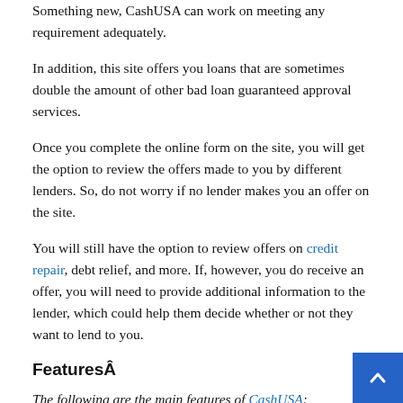Something new, CashUSA can work on meeting any requirement adequately.
In addition, this site offers you loans that are sometimes double the amount of other bad loan guaranteed approval services.
Once you complete the online form on the site, you will get the option to review the offers made to you by different lenders. So, do not worry if no lender makes you an offer on the site.
You will still have the option to review offers on credit repair, debt relief, and more. If, however, you do receive an offer, you will need to provide additional information to the lender, which could help them decide whether or not they want to lend to you.
FeaturesÂ
The following are the main features of CashUSA:
Uses a large network of lenders and partners that de... eligibility for a loan